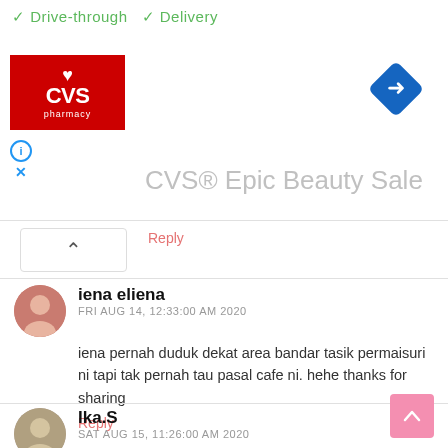[Figure (screenshot): CVS Pharmacy advertisement banner with Drive-through and Delivery checkmarks, CVS logo, navigation diamond icon, and CVS Epic Beauty Sale text]
Reply
iena eliena
FRI AUG 14, 12:33:00 AM 2020
iena pernah duduk dekat area bandar tasik permaisuri ni tapi tak pernah tau pasal cafe ni. hehe thanks for sharing
Reply
Ika.S
SAT AUG 15, 11:26:00 AM 2020
cafe nampak so hipster. best jgak nak lepak lepak ni dgn member
Reply
Enter comment